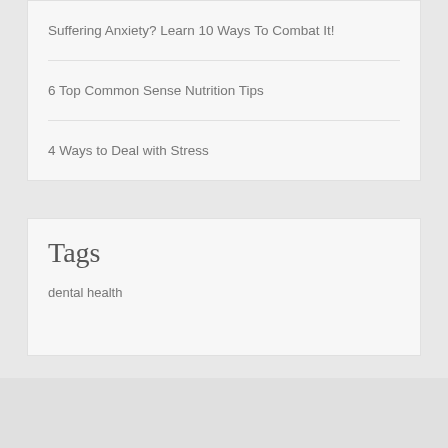Suffering Anxiety? Learn 10 Ways To Combat It!
6 Top Common Sense Nutrition Tips
4 Ways to Deal with Stress
Tags
dental health